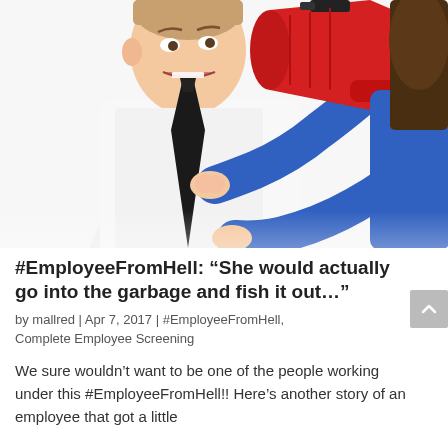[Figure (photo): A woman in a blue long-sleeve shirt holding a red megaphone up to the ear of a man in a white dress shirt with a black tie, who appears distressed. White background. The woman also appears to be grabbing the man's tie.]
#EmployeeFromHell: “She would actually go into the garbage and fish it out…”
by mallred | Apr 7, 2017 | #EmployeeFromHell, Complete Employee Screening
We sure wouldn’t want to be one of the people working under this #EmployeeFromHell!! Here’s another story of an employee that got a little